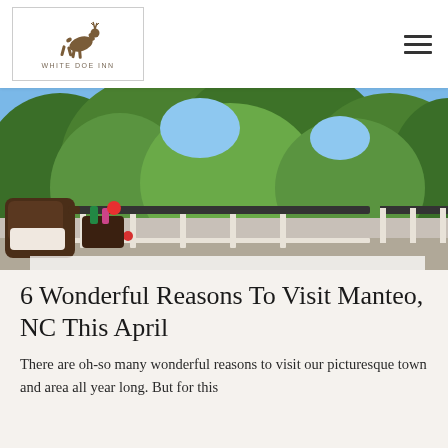White Doe Inn logo and navigation
[Figure (photo): Outdoor deck with wicker chairs, drinks on table, red flowers on railing, lush green trees in background — a bed and breakfast porch scene]
6 Wonderful Reasons To Visit Manteo, NC This April
There are oh-so many wonderful reasons to visit our picturesque town and area all year long. But for this